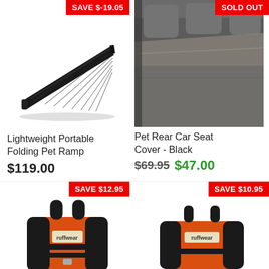[Figure (photo): Black folding pet ramp product photo with SAVE $-19.05 badge]
Lightweight Portable Folding Pet Ramp
$119.00
[Figure (photo): Pet rear car seat cover black photo in car, SOLD OUT badge]
Pet Rear Car Seat Cover - Black
$69.95 $47.00
[Figure (photo): Orange dog life jacket with SAVE $12.95 badge]
[Figure (photo): Orange dog life jacket smaller with SAVE $10.95 badge]